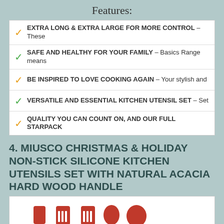Features:
EXTRA LONG & EXTRA LARGE FOR MORE CONTROL – These
SAFE AND HEALTHY FOR YOUR FAMILY – Basics Range means
BE INSPIRED TO LOVE COOKING AGAIN – Your stylish and
VERSATILE AND ESSENTIAL KITCHEN UTENSIL SET – Set
QUALITY YOU CAN COUNT ON, AND OUR FULL STARPACK
4. MIUSCO CHRISTMAS & HOLIDAY NON-STICK SILICONE KITCHEN UTENSILS SET WITH NATURAL ACACIA HARD WOOD HANDLE
[Figure (photo): Five red silicone kitchen utensils with natural acacia wood handles arranged side by side: spatula, slotted spatula, slotted turner, spoon, and ladle/spoon.]